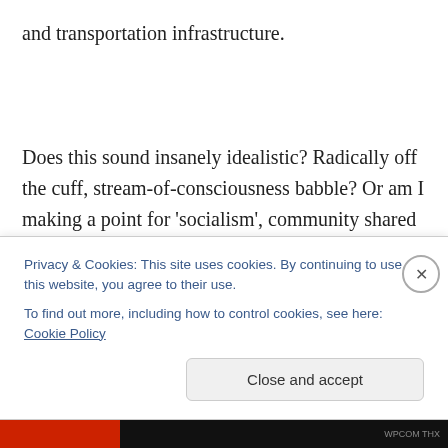and transportation infrastructure.
Does this sound insanely idealistic? Radically off the cuff, stream-of-consciousness babble? Or am I making a point for 'socialism', community shared intention and commitment, to full-out re-appropriation and repurposing of space and industry. With training and education matched with interest and desire to task. Channels
Privacy & Cookies: This site uses cookies. By continuing to use this website, you agree to their use.
To find out more, including how to control cookies, see here: Cookie Policy